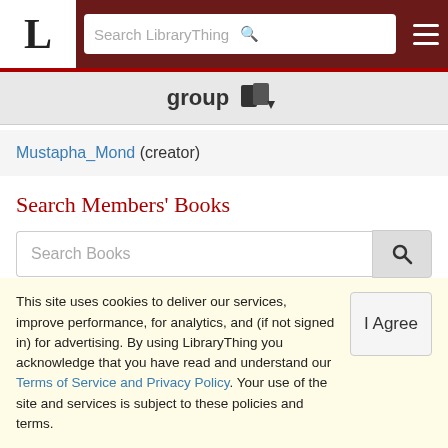LibraryThing — Search LibraryThing
group
Mustapha_Mond (creator)
Search Members' Books
Group Tags
This site uses cookies to deliver our services, improve performance, for analytics, and (if not signed in) for advertising. By using LibraryThing you acknowledge that you have read and understand our Terms of Service and Privacy Policy. Your use of the site and services is subject to these policies and terms.